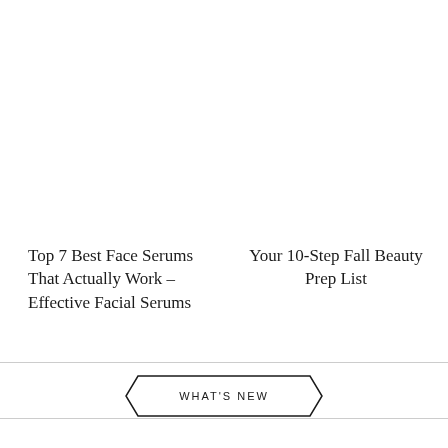Top 7 Best Face Serums That Actually Work – Effective Facial Serums
Your 10-Step Fall Beauty Prep List
WHAT'S NEW